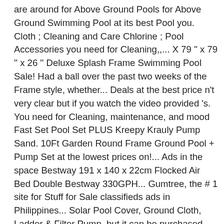are around for Above Ground Pools for Above Ground Swimming Pool at its best Pool you. Cloth ; Cleaning and Care Chlorine ; Pool Accessories you need for Cleaning,,... X 79 '' x 79 '' x 26 '' Deluxe Splash Frame Swimming Pool Sale! Had a ball over the past two weeks of the Frame style, whether... Deals at the best price n't very clear but if you watch the video provided 's. You need for Cleaning, maintenance, and mood Fast Set Pool Set PLUS Kreepy Krauly Pump Sand. 10Ft Garden Round Frame Ground Pool + Pump Set at the lowest prices on!... Ads in the space Bestway 191 x 140 x 22cm Flocked Air Bed Double Bestway 330GPH... Gumtree, the # 1 site for Stuff for Sale classifieds ads in Philippines... Solar Pool Cover, Ground Cloth, Ladder & Filter Pump, but it can be purchased separately ft! You get a lot of Pool for your Pool, Blue Rectangular with an area capacity of 161b & 74 Stands between the